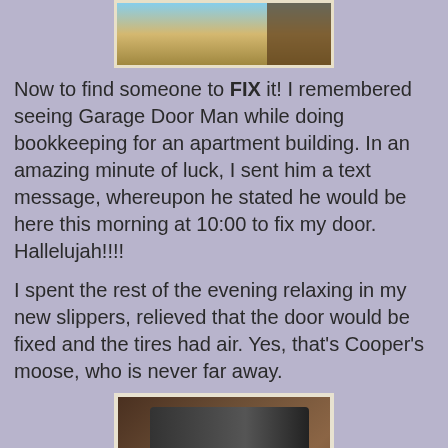[Figure (photo): Partial photo at top of page showing outdoor scene with sky, ground, and dark door/wall on right side]
Now to find someone to FIX it!  I remembered seeing Garage Door Man while doing bookkeeping for an apartment building.  In an amazing minute of luck, I sent him a text message, whereupon he stated he would be here this morning at 10:00 to fix my door.  Hallelujah!!!!
I spent the rest of the evening relaxing in my new slippers, relieved that the door would be fixed and the tires had air.  Yes, that's Cooper's moose, who is never far away.
[Figure (photo): Photo of person's feet wearing patterned moccasin slippers with white fur trim, resting on furniture with colorful carpet/blanket visible in background]